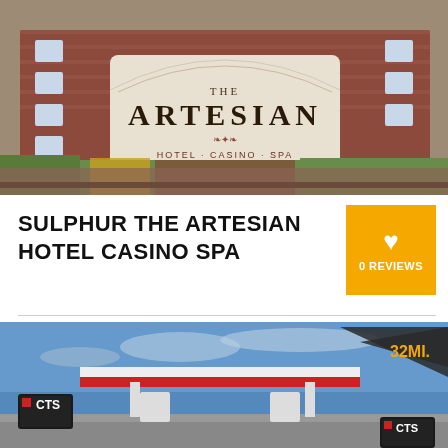[Figure (photo): Exterior photo of The Artesian Hotel Casino Spa sign in Sulphur, Oklahoma. A large brick sign reading THE ARTESIAN with subtitle HOTEL · CASINO · SPA, flanked by brick pillars, with a multi-story red brick building visible in the background.]
SULPHUR THE ARTESIAN HOTEL CASINO SPA
0 REVIEWS
[Figure (photo): Exterior photo of a CTS gas station at dusk or early evening, showing a red and white canopy over fuel pumps, with a dark sky in the background. A badge in the top right reads 32MI.]